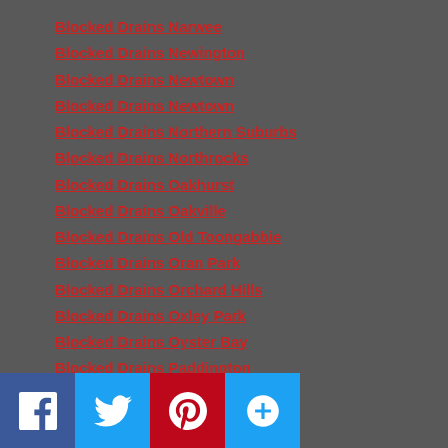Blocked Drains Narwee
Blocked Drains Newington
Blocked Drains Newtown
Blocked Drains Newtown
Blocked Drains Northern Suburbs
Blocked Drains Northrocks
Blocked Drains Oakhurst
Blocked Drains Oakville
Blocked Drains Old Toongabbie
Blocked Drains Oran Park
Blocked Drains Orchard Hills
Blocked Drains Oxley Park
Blocked Drains Oyster Bay
Blocked Drains Paddington
Blocked Drains Padstow
Blocked Drains Panania
Blocked Drains Parramatta
Blocked Drains Parramatta District
Blocked Drains Peakhurst